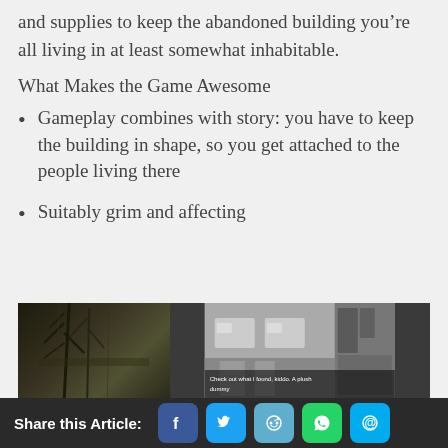and supplies to keep the abandoned building you’re all living in at least somewhat inhabitable.
What Makes the Game Awesome
Gameplay combines with story: you have to keep the building in shape, so you get attached to the people living there
Suitably grim and affecting
[Figure (screenshot): Screenshot from a dark survival game showing an abandoned building interior and exterior with a text overlay reading 'Check out what I found, kiddo. A plush dummy']
Share this Article: